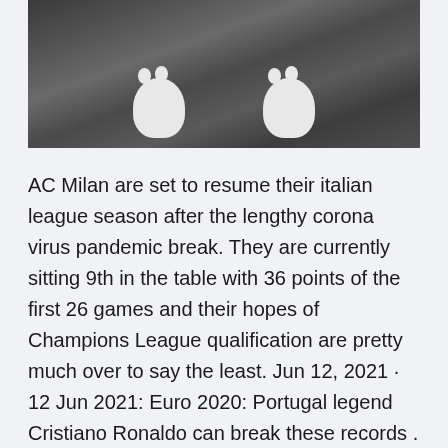[Figure (photo): Black and white photo showing paws of an animal (likely a cat or dog) resting on stone/cobblestone surface, cropped to show just the lower portion with paws.]
AC Milan are set to resume their italian league season after the lengthy corona virus pandemic break. They are currently sitting 9th in the table with 36 points of the first 26 games and their hopes of Champions League qualification are pretty much over to say the least. Jun 12, 2021 · 12 Jun 2021: Euro 2020: Portugal legend Cristiano Ronaldo can break these records . The European Championships got off to a terrific start with Italy thrashing Turkey 3-0 in the opener.All eyes will be on defending champions Portugal, who open their campaign against Hungary on June 15.Portugal are